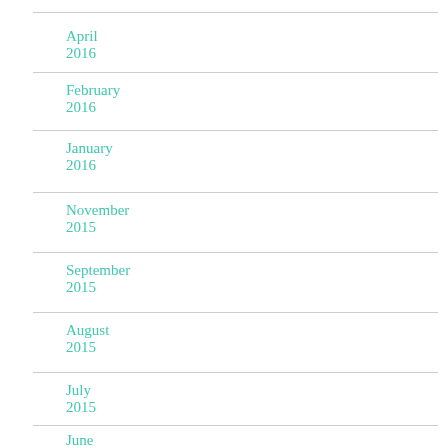April 2016
February 2016
January 2016
November 2015
September 2015
August 2015
July 2015
June 2015